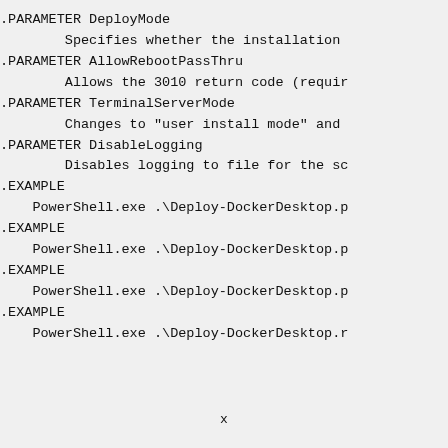.PARAMETER DeployMode
        Specifies whether the installation
.PARAMETER AllowRebootPassThru
        Allows the 3010 return code (requir
.PARAMETER TerminalServerMode
        Changes to "user install mode" and
.PARAMETER DisableLogging
        Disables logging to file for the sc
.EXAMPLE
    PowerShell.exe .\Deploy-DockerDesktop.p
.EXAMPLE
    PowerShell.exe .\Deploy-DockerDesktop.p
.EXAMPLE
    PowerShell.exe .\Deploy-DockerDesktop.p
.EXAMPLE
    PowerShell.exe .\Deploy-DockerDesktop.r
x